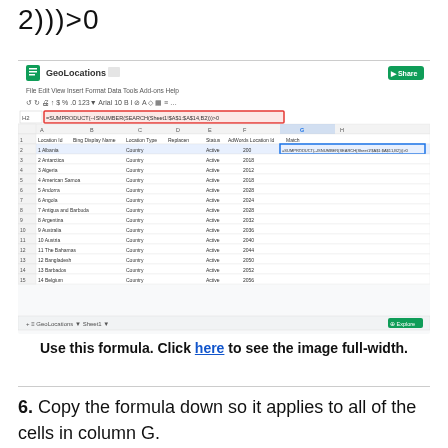[Figure (screenshot): Google Sheets spreadsheet named GeoLocations showing a SUMPRODUCT ISNUMBER SEARCH formula in cell H2, with a red arrow pointing to the formula cell. Columns include Location Id, Bing Display Name, Location Type, Replacer, Status, AdWords Location Id, Match.]
Use this formula. Click here to see the image full-width.
6. Copy the formula down so it applies to all of the cells in column G.